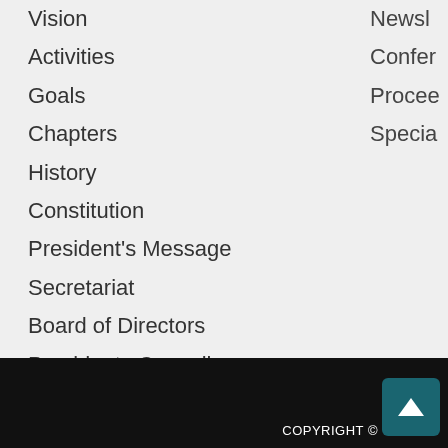Vision
Activities
Goals
Chapters
History
Constitution
President's Message
Secretariat
Board of Directors
Presidents Council
UN Representatives
Contact Us
Newsl…
Confer…
Procee…
Specia…
COPYRIGHT ©